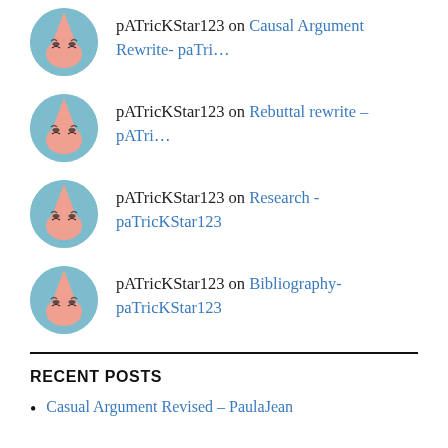pATricKStar123 on Causal Argument Rewrite- paTri...
pATricKStar123 on Rebuttal rewrite – pATri...
pATricKStar123 on Research - paTricKStar123
pATricKStar123 on Bibliography- paTricKStar123
RECENT POSTS
Casual Argument Revised – PaulaJean